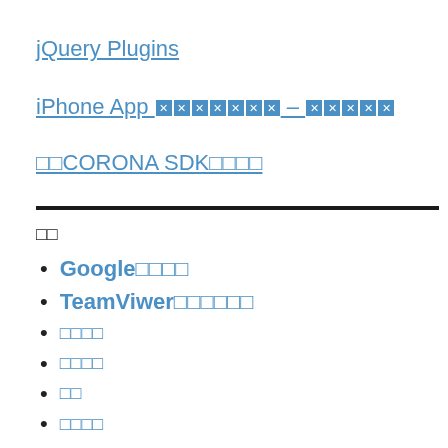jQuery Plugins
iPhone App xxxxxxx – xxxxx
□□CORONA SDK□□□□
□□
Google□□□□
TeamViwer□□□□□□
□□□□
□□□□
□□
□□□□